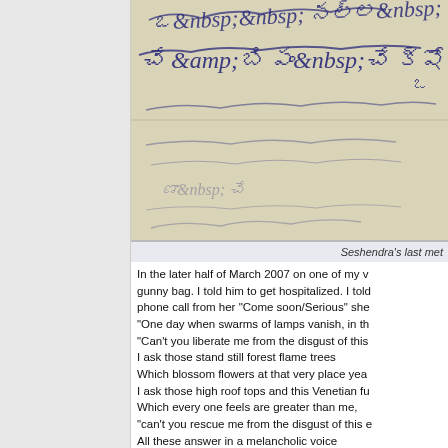[Figure (photo): A handwritten letter in Telugu script on aged/yellowed paper, showing cursive Telugu handwriting in dark ink.]
Seshendra's last met
In the later half of March 2007 on one of my v gunny bag. I told him to get hospitalized. I told phone call from her "Come soon/Serious" she "One day when swarms of lamps vanish, in th "Can't you liberate me from the disgust of this I ask those stand still forest flame trees Which blossom flowers at that very place yea I ask those high roof tops and this Venetian fu Which every one feels are greater than me, "can't you rescue me from the disgust of this e All these answer in a melancholic voice "We have been languishing since more than 1 Seshendra: Page 80-81:1993: Translated by n My father's first biography (in Hindi) titled "Ra sensitive aspects of my father's life he comme rapidly declining health as early as June 2002